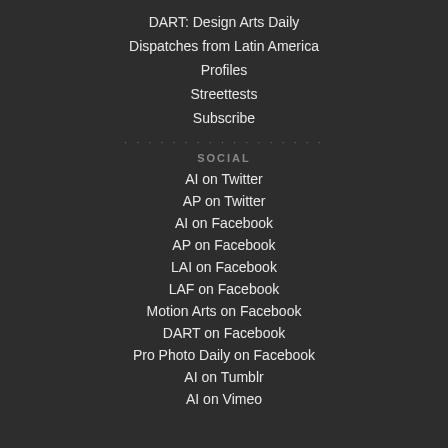DART: Design Arts Daily
Dispatches from Latin America
Profiles
Streettests
Subscribe
SOCIAL
AI on Twitter
AP on Twitter
AI on Facebook
AP on Facebook
LAI on Facebook
LAF on Facebook
Motion Arts on Facebook
DART on Facebook
Pro Photo Daily on Facebook
AI on Tumblr
AI on Vimeo